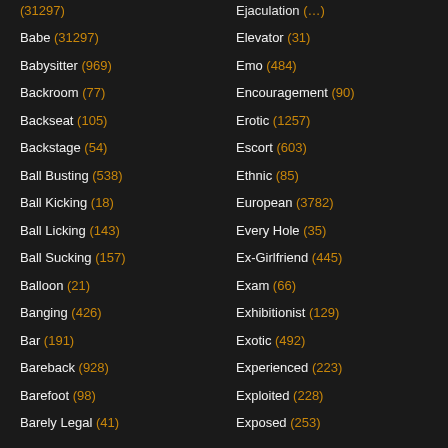Babe (31297)
Babysitter (969)
Backroom (77)
Backseat (105)
Backstage (54)
Ball Busting (538)
Ball Kicking (18)
Ball Licking (143)
Ball Sucking (157)
Balloon (21)
Banging (426)
Bar (191)
Bareback (928)
Barefoot (98)
Barely Legal (41)
Ejaculation (...)
Elevator (31)
Emo (484)
Encouragement (90)
Erotic (1257)
Escort (603)
Ethnic (85)
European (3782)
Every Hole (35)
Ex-Girlfriend (445)
Exam (66)
Exhibitionist (129)
Exotic (492)
Experienced (223)
Exploited (228)
Exposed (253)